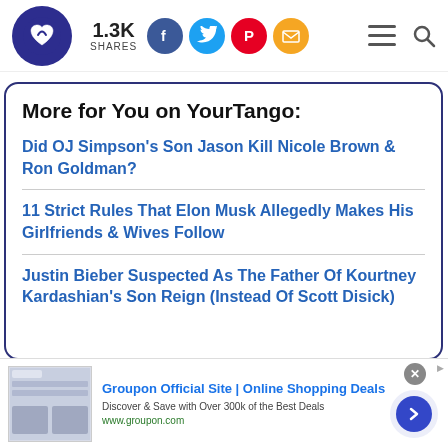1.3K SHARES
More for You on YourTango:
Did OJ Simpson's Son Jason Kill Nicole Brown & Ron Goldman?
11 Strict Rules That Elon Musk Allegedly Makes His Girlfriends & Wives Follow
Justin Bieber Suspected As The Father Of Kourtney Kardashian's Son Reign (Instead Of Scott Disick)
Groupon Official Site | Online Shopping Deals
Discover & Save with Over 300k of the Best Deals
www.groupon.com